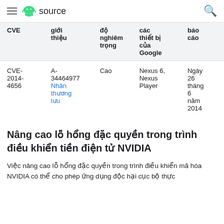≡ 🤖 source 🔍
| CVE | giới thiệu | độ nghiêm trọng | các thiết bị của Google | báo cáo |
| --- | --- | --- | --- | --- |
| CVE-2014-4656 | A-34464977 Nhân thương lưu | Cao | Nexus 6, Nexus Player | Ngày 26 tháng 6 năm 2014 |
Nâng cao lỗ hổng đặc quyền trong trình điều khiển tiền điện tử NVIDIA
Việc nâng cao lỗ hổng đặc quyền trong trình điều khiển mã hóa NVIDIA có thể cho phép ứng dụng độc hại cục bộ thực